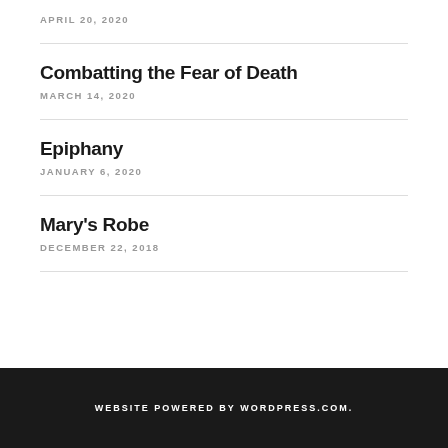APRIL 20, 2020
Combatting the Fear of Death
MARCH 14, 2020
Epiphany
JANUARY 6, 2020
Mary's Robe
DECEMBER 22, 2018
WEBSITE POWERED BY WORDPRESS.COM.